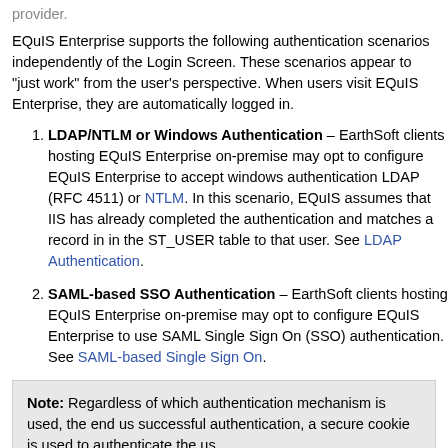provider.
EQuIS Enterprise supports the following authentication scenarios independently of the Login Screen. These scenarios appear to "just work" from the user's perspective. When users visit EQuIS Enterprise, they are automatically logged in.
LDAP/NTLM or Windows Authentication – EarthSoft clients hosting EQuIS Enterprise on-premise may opt to configure EQuIS Enterprise to accept windows authentication LDAP (RFC 4511) or NTLM. In this scenario, EQuIS assumes that IIS has already completed the authentication and matches a record in in the ST_USER table to that user. See LDAP Authentication.
SAML-based SSO Authentication – EarthSoft clients hosting EQuIS Enterprise on-premise may opt to configure EQuIS Enterprise to use SAML Single Sign On (SSO) authentication. See SAML-based Single Sign On.
Note: Regardless of which authentication mechanism is used, the end us successful authentication, a secure cookie is used to authenticate the us
EQuIS Enterprise REST API also supports the following Authentication method:
Bearer JWT Token Authentication – EQuIS issues JWT tokens from the REST API route api/tokens. A control in the Security tab of the User Profile Editor provides a simple user interface to this rest controller. Before using authentication by adding a HTTP request header li